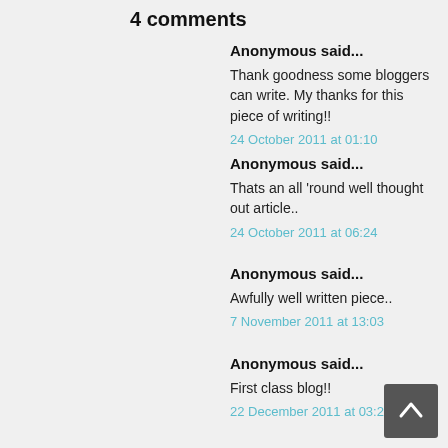4 comments
Anonymous said...
Thank goodness some bloggers can write. My thanks for this piece of writing!!
24 October 2011 at 01:10
Anonymous said...
Thats an all 'round well thought out article..
24 October 2011 at 06:24
Anonymous said...
Awfully well written piece..
7 November 2011 at 13:03
Anonymous said...
First class blog!!
22 December 2011 at 03:27